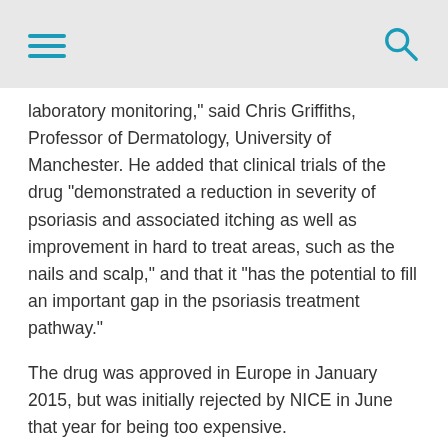[hamburger menu icon] [search icon]
laboratory monitoring," said Chris Griffiths, Professor of Dermatology, University of Manchester. He added that clinical trials of the drug "demonstrated a reduction in severity of psoriasis and associated itching as well as improvement in hard to treat areas, such as the nails and scalp," and that it "has the potential to fill an important gap in the psoriasis treatment pathway."
The drug was approved in Europe in January 2015, but was initially rejected by NICE in June that year for being too expensive.
Around 8,000 patients are likely to be eligible for